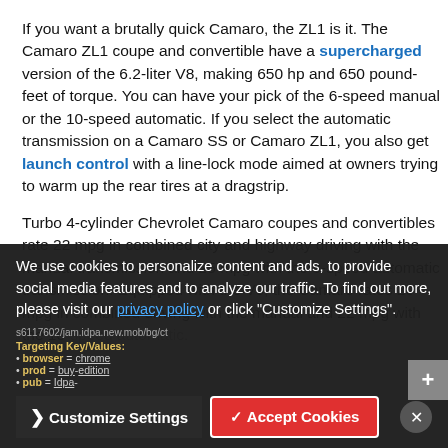If you want a brutally quick Camaro, the ZL1 is it. The Camaro ZL1 coupe and convertible have a supercharged version of the 6.2-liter V8, making 650 hp and 650 pound-feet of torque. You can have your pick of the 6-speed manual or the 10-speed automatic. If you select the automatic transmission on a Camaro SS or Camaro ZL1, you also get launch control with a line-lock mode aimed at owners trying to warm up the rear tires at a dragstrip.
Turbo 4-cylinder Chevrolet Camaro coupes and convertibles rate 22 mpg in combined city and highway driving with the manual transmission and 25 mpg with the 8-speed automatic transmission. Equipped with the V6, the Camaro rates 20 mpg in combined driving with the manual and 22 mpg with the 10-speed automatic.
We use cookies to personalize content and ads, to provide social media features and to analyze our traffic. To find out more, please visit our privacy policy or click "Customize Settings".